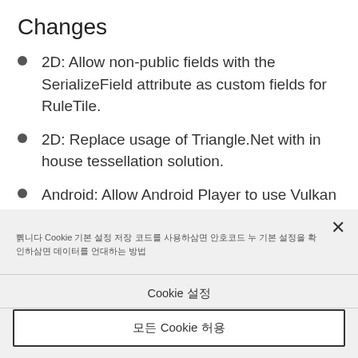Changes
2D: Allow non-public fields with the SerializeField attribute as custom fields for RuleTile.
2D: Replace usage of Triangle.Net with in house tessellation solution.
Android: Allow Android Player to use Vulkan on GPUs that are currently unknown to Unity on Android 11.
쿠키 Cookie 기본 설정 저장 Cookie 설정 모든 Cookie 허용
Cookie 설정
모든 Cookie 허용